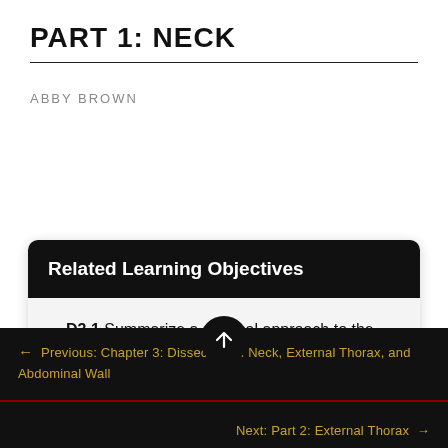PART 1: NECK
ABBY BROWN
Related Learning Objectives
D3.1 Summarize a surgical approach to the trachea for a tracheotomy and describe the
← Previous: Chapter 3: Dissection of Neck, External Thorax, and Abdominal Wall
Next: Part 2: External Thorax →